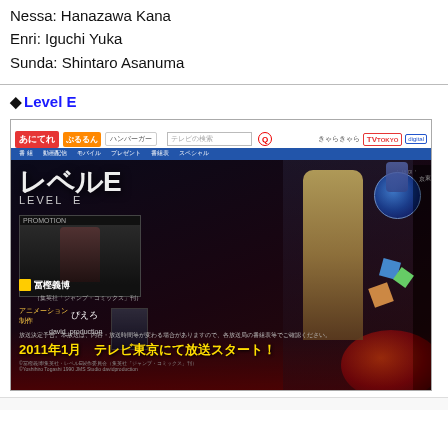Nessa: Hanazawa Kana
Enri: Iguchi Yuka
Sunda: Shintaro Asanuma
◆Level E
[Figure (screenshot): Screenshot of the Level E anime official website showing the anime title logo, a tall blonde character, the Earth, Japanese text with broadcast information '2011年1月 テレビ東京にて放送スタート！' and studio credits]